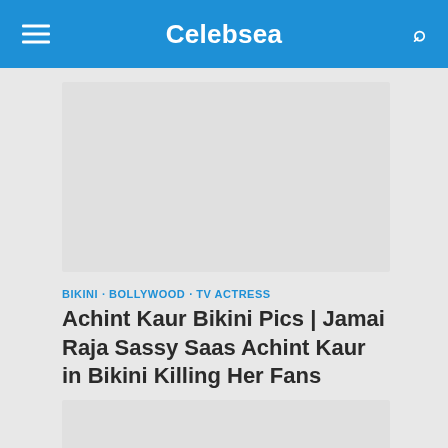Celebsea
[Figure (photo): Top image placeholder (advertisement or article image)]
BIKINI · BOLLYWOOD · TV ACTRESS
Achint Kaur Bikini Pics | Jamai Raja Sassy Saas Achint Kaur in Bikini Killing Her Fans
[Figure (photo): Bottom image placeholder (article photo)]